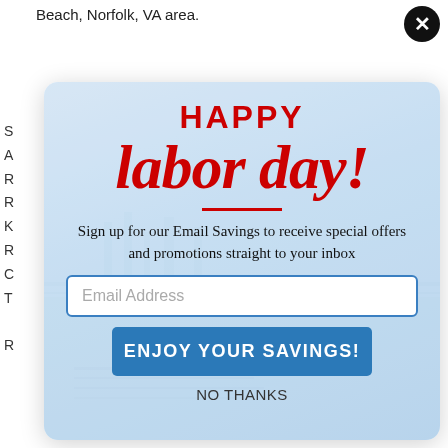Beach, Norfolk, VA area.
[Figure (screenshot): A Labor Day popup modal with a light blue background showing 'HAPPY labor day!' in red lettering, a sign-up form for Email Savings with an email address input field, an 'ENJOY YOUR SAVINGS!' blue button, and a 'NO THANKS' link.]
Sign up for our Email Savings to receive special offers and promotions straight to your inbox
Email Address
ENJOY YOUR SAVINGS!
NO THANKS